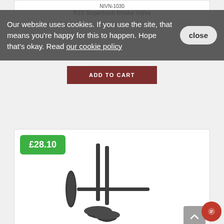NIVN-1030
R33 Supertech Intake Valve
Our website uses cookies. If you use the site, that means you're happy for this to happen. Hope that's okay. Read our cookie policy  close
[Figure (photo): Two Supertech intake valves crossed, with long dark stems and circular valve heads, shown on white background]
NIVN-1032
R33 Supertech Intake Valve
£28.10